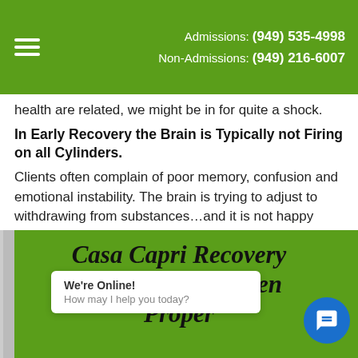Admissions: (949) 535-4998  Non-Admissions: (949) 216-6007
health are related, we might be in for quite a shock.
In Early Recovery the Brain is Typically not Firing on all Cylinders.
Clients often complain of poor memory, confusion and emotional instability. The brain is trying to adjust to withdrawing from substances…and it is not happy about it. PAWS (Post-Acute Withdrawal Syndrome) can last for up to two years while the brain is trying to readjust to a life without drugs or alcohol. So, to propel recovery, the sooner the brain is saturated with optimum nutrition…the better.
[Figure (other): Chat widget with 'We're Online! How may I help you today?' and blue chat icon]
Casa Capri Recovery Teaches our Women Proper N... and Mental Health and Long-